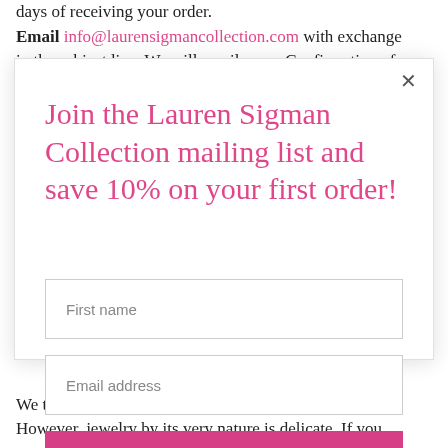days of receiving your order. Email info@laurensigmancollection.com with exchange in the subject line. We will email you a Confirmation of
Join the Lauren Sigman Collection mailing list and save 10% on your first order!
First name
Email address
SUBSCRIBE
We take great pride in our quality and craftsmanship. However, jewelry by its very nature is delicate. If you